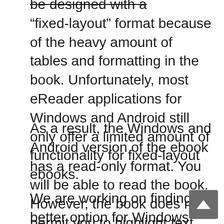“fixed-layout” format because of the heavy amount of tables and formatting in the book. Unfortunately, most eReader applications for Windows and Android still only offer a limited amount of functionality for fixed-layout ebooks.
As a result, the Windows and Android version of the ebook has a read-only format. You will be able to read the book. However, the book does not permit you to highlight text, add notes, or search within the book.
We are working on finding a better option for Windows and Android users that will offer increased functionality. Meanwhile, we did want to go ahead and make this read-only